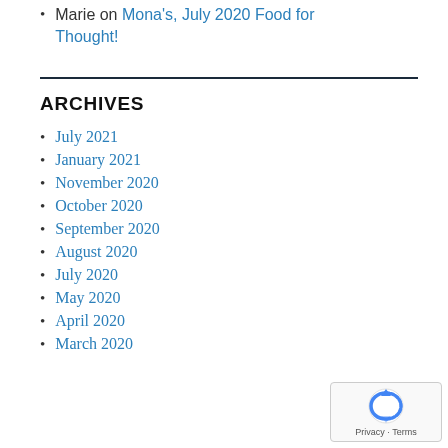Marie on Mona's, July 2020 Food for Thought!
ARCHIVES
July 2021
January 2021
November 2020
October 2020
September 2020
August 2020
July 2020
May 2020
April 2020
March 2020